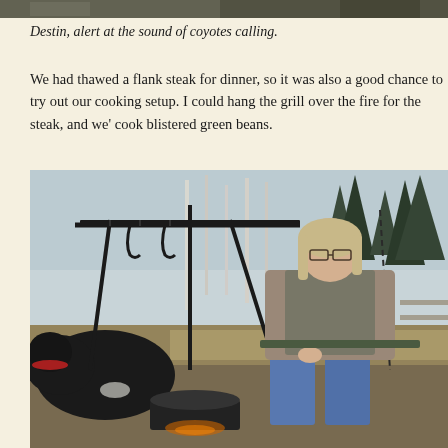[Figure (photo): Top portion of a photo showing a dog (Destin) partially visible at the top edge of the page, dark fur visible.]
Destin, alert at the sound of coyotes calling.
We had thawed a flank steak for dinner, so it was also a good chance to try out our cooking setup. I could hang the grill over the fire for the steak, and we' cook blistered green beans.
[Figure (photo): Outdoor photo of a man with glasses and light-colored long hair sitting on a chair near a campfire cooking setup with a tripod grill frame. A black dog lies on the ground to the left. Background shows bare trees and forest. A pot is hanging over a fire in the foreground.]